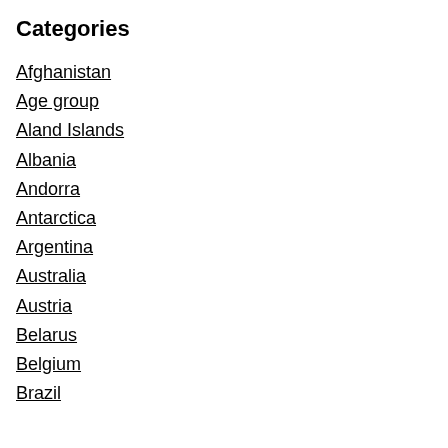Categories
Afghanistan
Age group
Aland Islands
Albania
Andorra
Antarctica
Argentina
Australia
Austria
Belarus
Belgium
Brazil